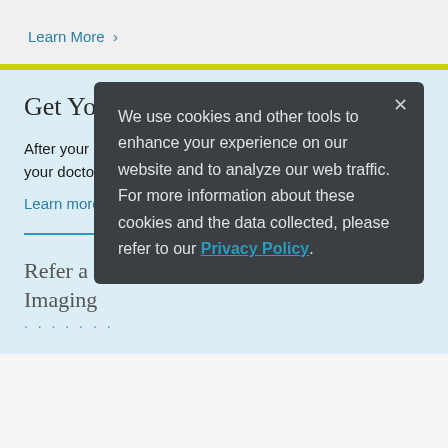Learn More  ›
Get Your Imaging Results
After your imaging exam, a radiologist sends a report to your doctor. Most results are in Patient Gateway.
Learn more  ›
We use cookies and other tools to enhance your experience on our website and to analyze our web traffic. For more information about these cookies and the data collected, please refer to our Privacy Policy.
Refer a Patient to Mass General Imaging